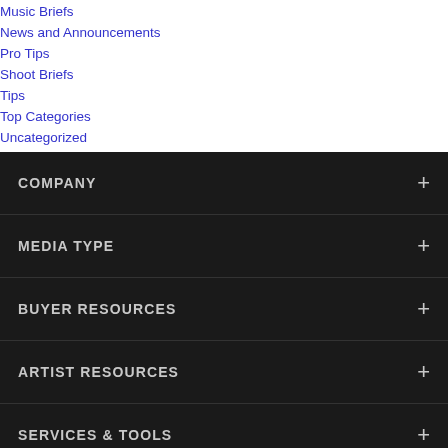Music Briefs
News and Announcements
Pro Tips
Shoot Briefs
Tips
Top Categories
Uncategorized
COMPANY
MEDIA TYPE
BUYER RESOURCES
ARTIST RESOURCES
SERVICES & TOOLS
HELP
COMMUNITY